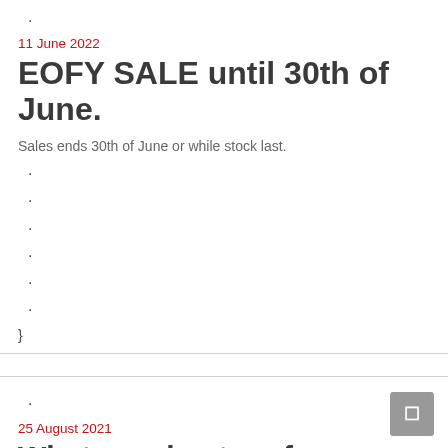·
11 June 2022
EOFY SALE until 30th of June.
Sales ends 30th of June or while stock last.
·
·
·
·
·
·
}
·
25 August 2021
What new in store for SPRING 2021?